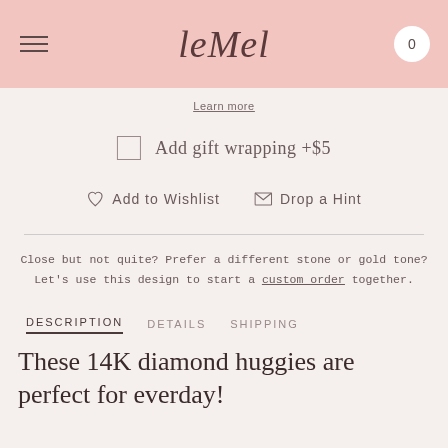leMel — navigation header with menu icon and cart (0)
Learn more
Add gift wrapping +$5
Add to Wishlist   Drop a Hint
Close but not quite? Prefer a different stone or gold tone? Let's use this design to start a custom order together.
DESCRIPTION   DETAILS   SHIPPING
These 14K diamond huggies are perfect for everday!
LAYERS WELL WITH